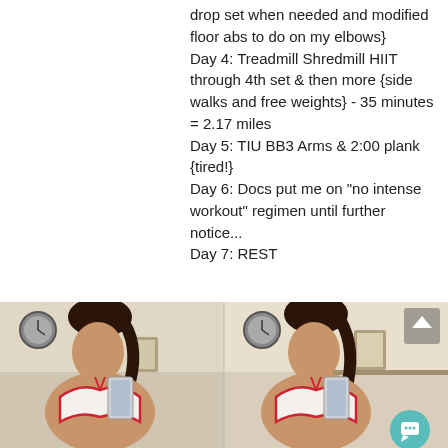drop set when needed and modified floor abs to do on my elbows}
Day 4: Treadmill Shredmill HIIT through 4th set & then more {side walks and free weights} - 35 minutes = 2.17 miles
Day 5: TIU BB3 Arms & 2:00 plank {tired!}
Day 6: Docs put me on "no intense workout" regimen until further notice...
Day 7: REST
[Figure (photo): Two side-by-side mirror selfie photos of a woman with dark hair in a ponytail, wearing a white and red bikini top, taking a photo in a bathroom/bedroom mirror. A chat bubble icon overlay appears in the bottom right, and an up-arrow icon appears in the upper right of the right photo.]